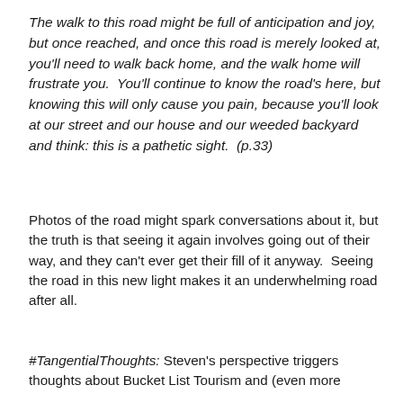The walk to this road might be full of anticipation and joy, but once reached, and once this road is merely looked at, you'll need to walk back home, and the walk home will frustrate you.  You'll continue to know the road's here, but knowing this will only cause you pain, because you'll look at our street and our house and our weeded backyard and think: this is a pathetic sight.  (p.33)
Photos of the road might spark conversations about it, but the truth is that seeing it again involves going out of their way, and they can't ever get their fill of it anyway.  Seeing the road in this new light makes it an underwhelming road after all.
#TangentialThoughts: Steven's perspective triggers thoughts about Bucket List Tourism and (even more